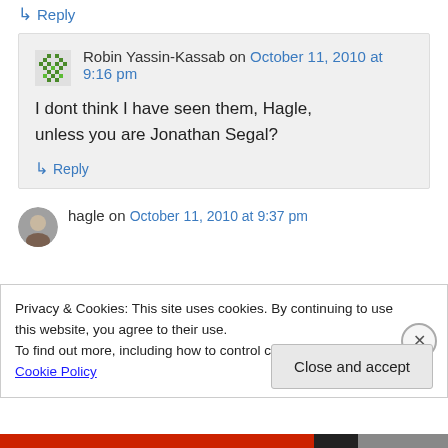↳ Reply
Robin Yassin-Kassab on October 11, 2010 at 9:16 pm
I dont think I have seen them, Hagle, unless you are Jonathan Segal?
↳ Reply
hagle on October 11, 2010 at 9:37 pm
Privacy & Cookies: This site uses cookies. By continuing to use this website, you agree to their use. To find out more, including how to control cookies, see here: Cookie Policy
Close and accept